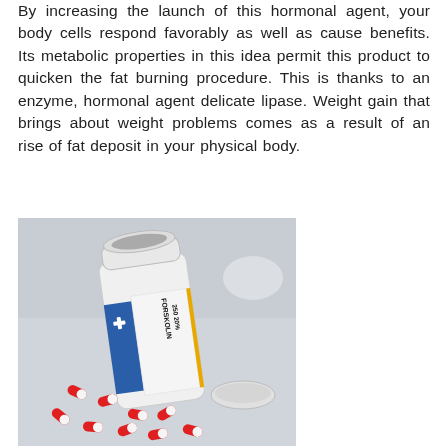By increasing the launch of this hormonal agent, your body cells respond favorably as well as cause benefits. Its metabolic properties in this idea permit this product to quicken the fat burning procedure. This is thanks to an enzyme, hormonal agent delicate lipase. Weight gain that brings about weight problems comes as a result of an rise of fat deposit in your physical body.
[Figure (photo): A white pill bottle labeled 'FORSKOLIN 250 20%' with a blue and yellow label, lying on its side with the cap off, surrounded by scattered red and white capsule pills on a light gray surface.]